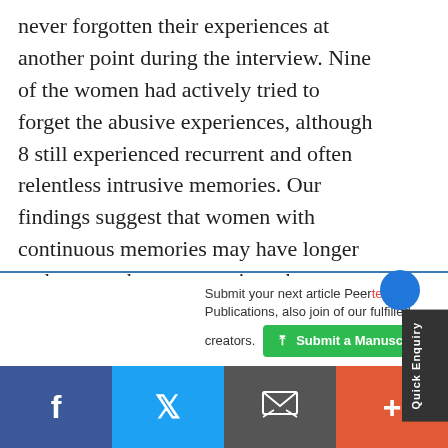never forgotten their experiences at another point during the interview. Nine of the women had actively tried to forget the abusive experiences, although 8 still experienced recurrent and often relentless intrusive memories. Our findings suggest that women with continuous memories may have longer and more coherent narratives than women without continuous memories. Implications of these findings for
Submit your next article Peertechz Publications, also join of our fulfilled creators.
Submit a Manuscript